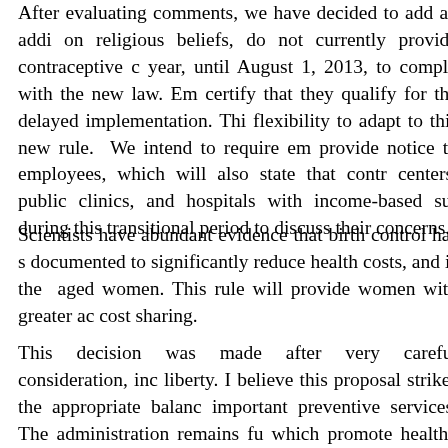After evaluating comments, we have decided to add an additional accommodation on religious beliefs, do not currently provide contraceptive coverage. They will have one year, until August 1, 2013, to comply with the new law. Employers will be required to certify that they qualify for the delayed implementation. This will give them additional flexibility to adapt to this new rule. We intend to require employers using this option to provide notice to employees, which will also state that contraceptives are available at health centers, public clinics, and hospitals with income-based support. We will work with them during this transitional period to discuss their concerns.
Scientists have abundant evidence that birth control has significant health benefits, is documented to significantly reduce health costs, and is the most commonly used drug by child-aged women. This rule will provide women with greater access to contraception by reducing cost sharing.
This decision was made after very careful consideration, including the concern about religious liberty. I believe this proposal strikes the appropriate balance between expanding coverage of important preventive services. The administration remains fully committed to its partnerships which promote healthy communities and serve the common good.